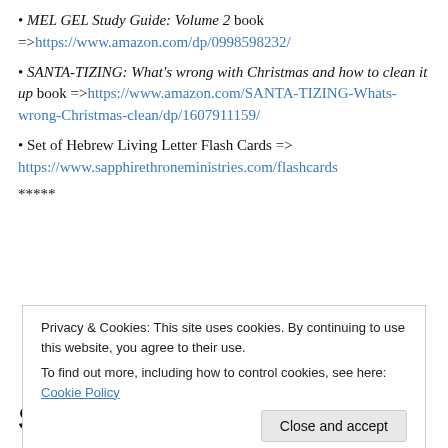MEL GEL Study Guide: Volume 2 book =>https://www.amazon.com/dp/0998598232/
SANTA-TIZING: What's wrong with Christmas and how to clean it up book =>https://www.amazon.com/SANTA-TIZING-Whats-wrong-Christmas-clean/dp/1607911159/
Set of Hebrew Living Letter Flash Cards => https://www.sapphirethroneministries.com/flashcards
*****
Privacy & Cookies: This site uses cookies. By continuing to use this website, you agree to their use. To find out more, including how to control cookies, see here: Cookie Policy
SELF-PROTECTION!